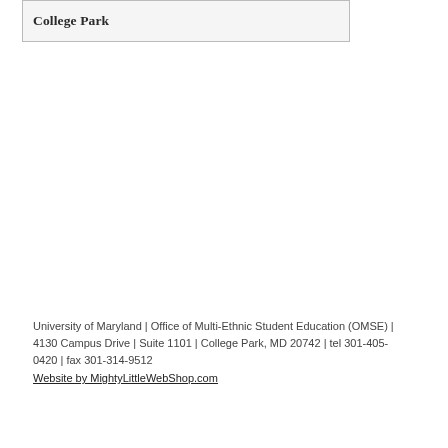College Park
University of Maryland | Office of Multi-Ethnic Student Education (OMSE) | 4130 Campus Drive | Suite 1101 | College Park, MD 20742 | tel 301-405-0420 | fax 301-314-9512
Website by MightyLittleWebShop.com